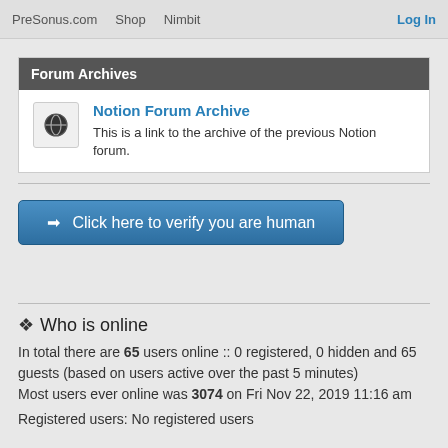PreSonus.com   Shop   Nimbit   Log In
Forum Archives
Notion Forum Archive
This is a link to the archive of the previous Notion forum.
Click here to verify you are human
Who is online
In total there are 65 users online :: 0 registered, 0 hidden and 65 guests (based on users active over the past 5 minutes)
Most users ever online was 3074 on Fri Nov 22, 2019 11:16 am
Registered users: No registered users